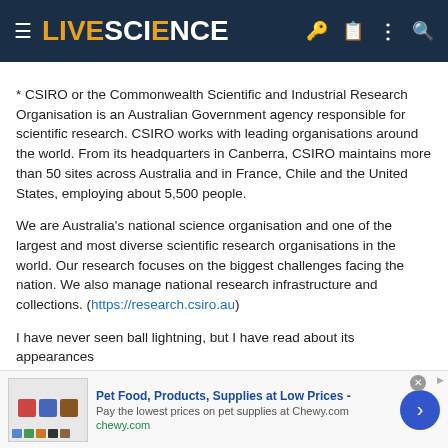LIVE SCIENCE
* CSIRO or the Commonwealth Scientific and Industrial Research Organisation is an Australian Government agency responsible for scientific research. CSIRO works with leading organisations around the world. From its headquarters in Canberra, CSIRO maintains more than 50 sites across Australia and in France, Chile and the United States, employing about 5,500 people.
We are Australia's national science organisation and one of the largest and most diverse scientific research organisations in the world. Our research focuses on the biggest challenges facing the nation. We also manage national research infrastructure and collections. (https://research.csiro.au)
I have never seen ball lightning, but I have read about its appearances
[Figure (screenshot): Advertisement banner for Chewy.com pet supplies: 'Pet Food, Products, Supplies at Low Prices - Pay the lowest prices on pet supplies at Chewy.com chewy.com']